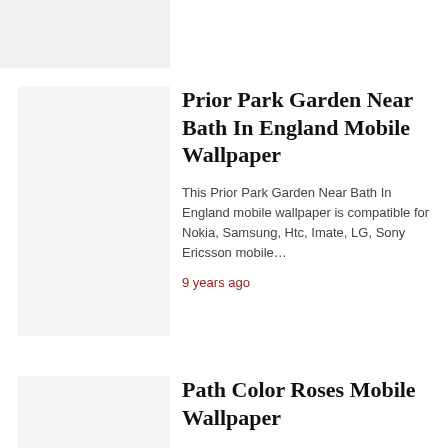[Figure (photo): Thumbnail image placeholder at top of page]
[Figure (photo): Thumbnail image placeholder for Prior Park Garden article]
Prior Park Garden Near Bath In England Mobile Wallpaper
This Prior Park Garden Near Bath In England mobile wallpaper is compatible for Nokia, Samsung, Htc, Imate, LG, Sony Ericsson mobile…
9 years ago
[Figure (photo): Thumbnail image placeholder for Path Color Roses article]
Path Color Roses Mobile Wallpaper
This Path Color Roses mobile wallpaper is compatible for Nokia, Samsung, Htc, Imate, LG, Sony Ericsson mobile phones.rate it if u…
9 years ago